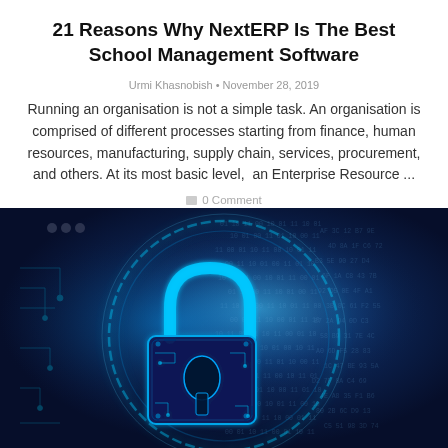21 Reasons Why NextERP Is The Best School Management Software
Urmi Khasnobish • November 28, 2019
Running an organisation is not a simple task. An organisation is comprised of different processes starting from finance, human resources, manufacturing, supply chain, services, procurement, and others. At its most basic level,  an Enterprise Resource ...
0 Comment
[Figure (photo): Digital cybersecurity concept image showing a glowing blue circuit-board padlock on a dark blue background with binary/code text overlay]